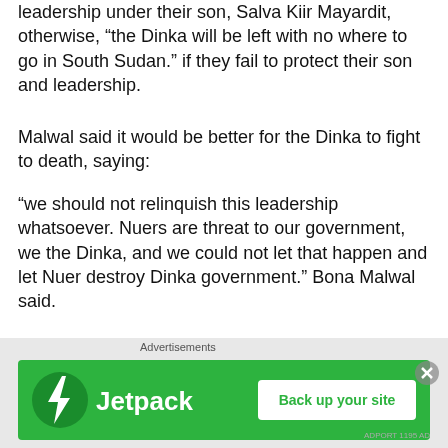leadership under their son, Salva Kiir Mayardit, otherwise, “the Dinka will be left with no where to go in South Sudan.” if they fail to protect their son and leadership.
Malwal said it would be better for the Dinka to fight to death, saying:
“we should not relinquish this leadership whatsoever. Nuers are threat to our government, we the Dinka, and we could not let that happen and let Nuer destroy Dinka government.” Bona Malwal said.
Bona Malwal said he has remitted more than $200,000 (two hundred thousand U. S dollars) to various accounts to be paid to young men and women, who will volunteer their time
Advertisements
[Figure (other): Jetpack advertisement banner with green background, Jetpack logo and bolt icon on left, 'Back up your site' button on right]